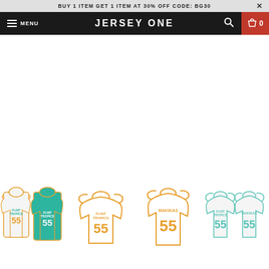BUY 1 ITEM GET 1 ITEM AT 30% OFF CODE: BG30
MENU  JERSEY ONE  [search icon] [cart] 0
[Figure (photo): Four thumbnail product images of basketball jerseys numbered 55, labeled 'Flint Tropics'. Two white and one teal jersey in first thumbnail; white jersey with orange trim in second; white jersey with MAKIKAS 55 in third; two jerseys (one front, one back) in fourth thumbnail.]